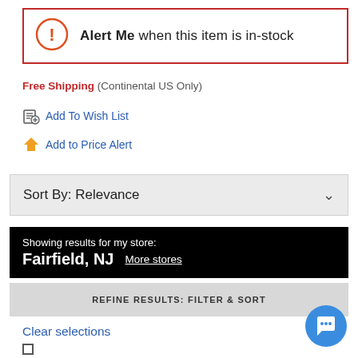Alert Me when this item is in-stock
Free Shipping (Continental US Only)
Add To Wish List
Add to Price Alert
Sort By: Relevance
Showing results for my store: Fairfield, NJ More stores
REFINE RESULTS: FILTER & SORT
Clear selections